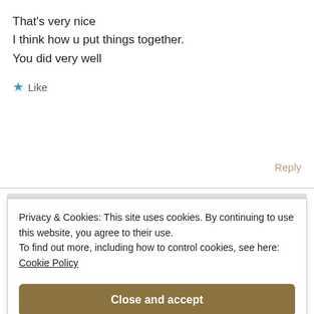That's very nice
I think how u put things together.
You did very well
★ Like
Reply
Privacy & Cookies: This site uses cookies. By continuing to use this website, you agree to their use.
To find out more, including how to control cookies, see here:
Cookie Policy
Close and accept